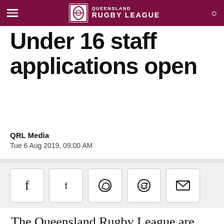Queensland Rugby League
Queensland Under 16 staff applications open
QRL Media
Tue 6 Aug 2019, 09:00 AM
[Figure (infographic): Social share buttons: Facebook, Twitter, WhatsApp, Reddit, Email]
The Queensland Rugby League are seeking suitably qualified individuals to apply to be part of the Queensland